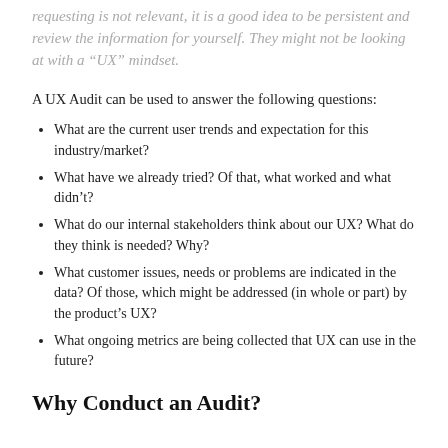requesting is not relevant, it is a good idea to be persistent and review the information for yourself. They might not be looking at with a “UX” mindset.
A UX Audit can be used to answer the following questions:
What are the current user trends and expectation for this industry/market?
What have we already tried? Of that, what worked and what didn’t?
What do our internal stakeholders think about our UX? What do they think is needed? Why?
What customer issues, needs or problems are indicated in the data? Of those, which might be addressed (in whole or part) by the product’s UX?
What ongoing metrics are being collected that UX can use in the future?
Why Conduct an Audit?